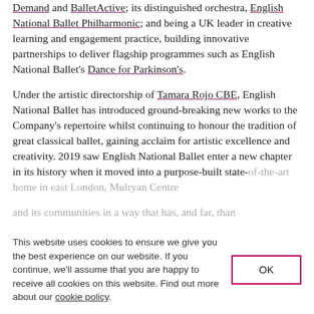Demand and BalletActive; its distinguished orchestra, English National Ballet Philharmonic; and being a UK leader in creative learning and engagement practice, building innovative partnerships to deliver flagship programmes such as English National Ballet's Dance for Parkinson's.
Under the artistic directorship of Tamara Rojo CBE, English National Ballet has introduced ground-breaking new works to the Company's repertoire whilst continuing to honour the tradition of great classical ballet, gaining acclaim for artistic excellence and creativity. 2019 saw English National Ballet enter a new chapter in its history when it moved into a purpose-built state-of-the-art home in east London, Mulryan Centre [for dance, providing world-class accommodation, and inspiring its communities in a way that has, and far, than] [expected].
This website uses cookies to ensure we give you the best experience on our website. If you continue, we'll assume that you are happy to receive all cookies on this website. Find out more about our cookie policy.